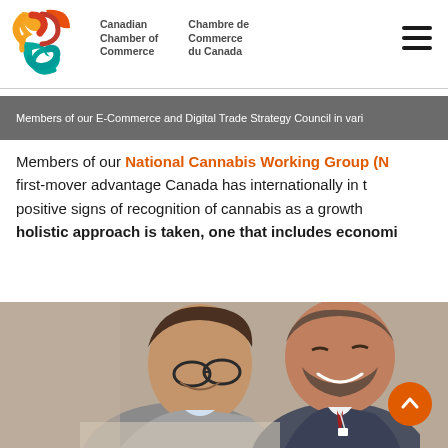Canadian Chamber of Commerce | Chambre de Commerce du Canada
Members of our E-Commerce and Digital Trade Strategy Council in vari
Members of our National Cannabis Working Group (NCWG) first-mover advantage Canada has internationally in the positive signs of recognition of cannabis as a growth holistic approach is taken, one that includes economi
[Figure (photo): Two men at a conference table, one looking down with glasses on, another smiling broadly, at what appears to be a business meeting or council session.]